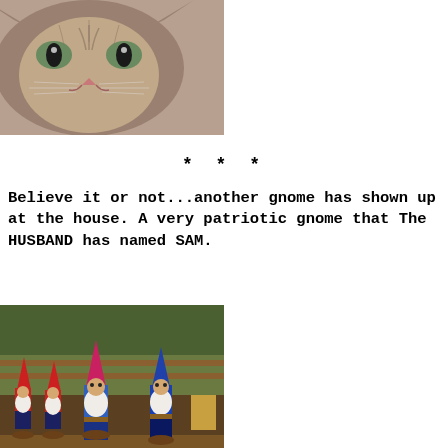[Figure (photo): Close-up photo of a tabby cat face looking at camera, sepia/muted tones]
* * *
Believe it or not...another gnome has shown up at the house. A very patriotic gnome that The HUSBAND has named SAM.
[Figure (photo): Photo of six garden gnome figurines in red and blue outfits lined up on a table with wooden railing and trees in background]
From Left to Right: Sparks,